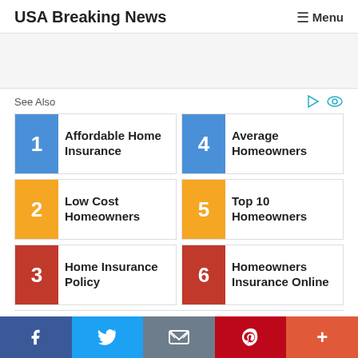USA Breaking News | Menu
See Also
1 Affordable Home Insurance
4 Average Homeowners
2 Low Cost Homeowners
5 Top 10 Homeowners
3 Home Insurance Policy
6 Homeowners Insurance Online
Facebook | Twitter | Email | Pinterest | More